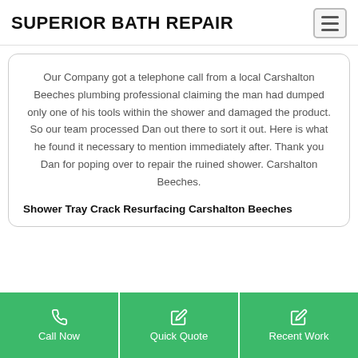SUPERIOR BATH REPAIR
Our Company got a telephone call from a local Carshalton Beeches plumbing professional claiming the man had dumped only one of his tools within the shower and damaged the product. So our team processed Dan out there to sort it out. Here is what he found it necessary to mention immediately after. Thank you Dan for poping over to repair the ruined shower. Carshalton Beeches.
Shower Tray Crack Resurfacing Carshalton Beeches
Call Now
Quick Quote
Recent Work